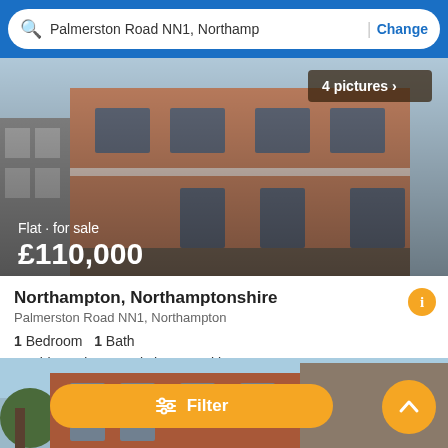Palmerston Road NN1, Northamp | Change
[Figure (photo): Exterior photo of a brick apartment building, showing multiple floors with windows. Price overlay reads: Flat · for sale £110,000. Badge shows 4 pictures with chevron arrow.]
Northampton, Northamptonshire
Palmerston Road NN1, Northampton
1 Bedroom   1 Bath
Double Bedroom · Kitchen · Parking
First seen 2 weeks ago on listanza
[Figure (photo): Partial view of another brick building exterior with trees visible, partially obscured by Filter button overlay.]